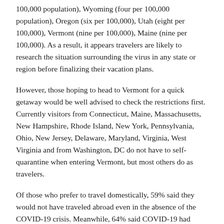100,000 population), Wyoming (four per 100,000 population), Oregon (six per 100,000), Utah (eight per 100,000), Vermont (nine per 100,000), Maine (nine per 100,000). As a result, it appears travelers are likely to research the situation surrounding the virus in any state or region before finalizing their vacation plans.
However, those hoping to head to Vermont for a quick getaway would be well advised to check the restrictions first. Currently visitors from Connecticut, Maine, Massachusetts, New Hampshire, Rhode Island, New York, Pennsylvania, Ohio, New Jersey, Delaware, Maryland, Virginia, West Virginia and from Washington, DC do not have to self-quarantine when entering Vermont, but most others do as travelers.
Of those who prefer to travel domestically, 59% said they would not have traveled abroad even in the absence of the COVID-19 crisis. Meanwhile, 64% said COVID-19 had impacted their financial ability to travel in the near future.
The domestic travel data aligns with separate research released in June that found 46 million Americans plan to take a recreational